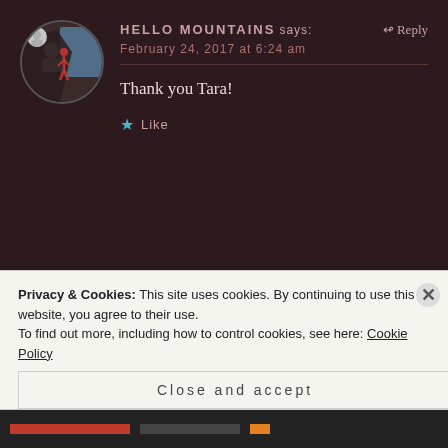HELLO MOUNTAINS says: ↫ Reply
February 24, 2017 at 6:24 am
Thank you Tara!
★ Like
TANJA says: ↩ Reply
February 23, 2017 at 1:16 pm
Privacy & Cookies: This site uses cookies. By continuing to use this website, you agree to their use.
To find out more, including how to control cookies, see here: Cookie Policy
Close and accept